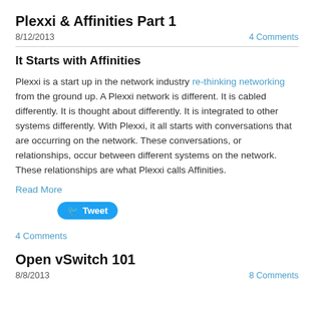Plexxi & Affinities Part 1
8/12/2013   4 Comments
It Starts with Affinities
Plexxi is a start up in the network industry re-thinking networking from the ground up.  A Plexxi network is different.  It is cabled differently.  It is thought about differently.  It is integrated to other systems differently.  With Plexxi, it all starts with conversations that are occurring on the network.  These conversations, or relationships, occur between different systems on the network.  These relationships are what Plexxi calls Affinities.
Read More
[Figure (other): Tweet button]
4 Comments
Open vSwitch 101
8/8/2013   8 Comments